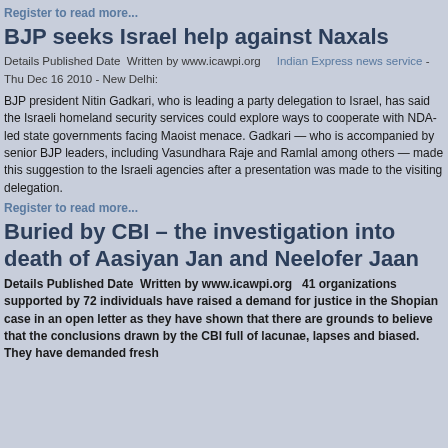Register to read more...
BJP seeks Israel help against Naxals
Details Published Date  Written by www.icawpi.org    Indian Express news service - Thu Dec 16 2010 - New Delhi:
BJP president Nitin Gadkari, who is leading a party delegation to Israel, has said the Israeli homeland security services could explore ways to cooperate with NDA-led state governments facing Maoist menace. Gadkari — who is accompanied by senior BJP leaders, including Vasundhara Raje and Ramlal among others — made this suggestion to the Israeli agencies after a presentation was made to the visiting delegation.
Register to read more...
Buried by CBI – the investigation into death of Aasiyan Jan and Neelofer Jaan
Details Published Date  Written by www.icawpi.org   41 organizations supported by 72 individuals have raised a demand for justice in the Shopian case in an open letter as they have shown that there are grounds to believe that the conclusions drawn by the CBI full of lacunae, lapses and biased. They have demanded fresh